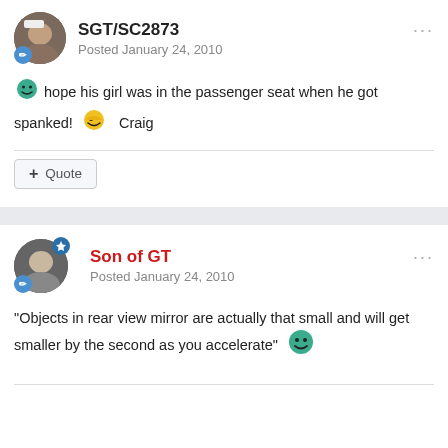SGT/SC2873
Posted January 24, 2010
hope his girl was in the passenger seat when he got spanked! Craig
Quote
Son of GT
Posted January 24, 2010
"Objects in rear view mirror are actually that small and will get smaller by the second as you accelerate"